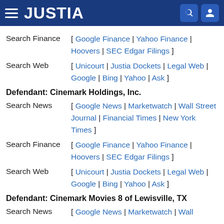JUSTIA
Search Finance [ Google Finance | Yahoo Finance | Hoovers | SEC Edgar Filings ]
Search Web [ Unicourt | Justia Dockets | Legal Web | Google | Bing | Yahoo | Ask ]
Defendant: Cinemark Holdings, Inc.
Search News [ Google News | Marketwatch | Wall Street Journal | Financial Times | New York Times ]
Search Finance [ Google Finance | Yahoo Finance | Hoovers | SEC Edgar Filings ]
Search Web [ Unicourt | Justia Dockets | Legal Web | Google | Bing | Yahoo | Ask ]
Defendant: Cinemark Movies 8 of Lewisville, TX
Search News [ Google News | Marketwatch | Wall